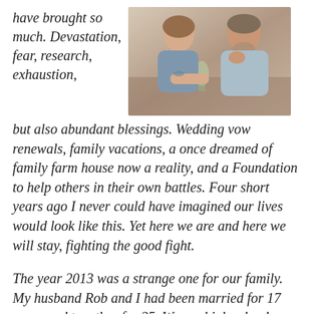have brought so much. Devastation, fear, research, exhaustion,
[Figure (photo): A couple sitting together at a table, the woman leaning toward the man, with a floral arrangement in a glass between them. Warm, natural lighting.]
but also abundant blessings. Wedding vow renewals, family vacations, a once dreamed of family farm house now a reality, and a Foundation to help others in their own battles. Four short years ago I never could have imagined our lives would look like this. Yet here we are and here we will stay, fighting the good fight.
The year 2013 was a strange one for our family. My husband Rob and I had been married for 17 years and together for 25. We are high school